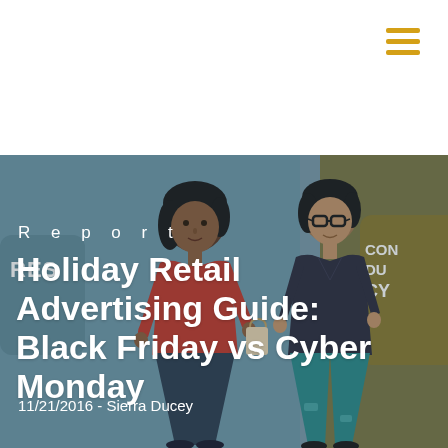[Figure (illustration): Hamburger menu icon with three horizontal golden/yellow lines in top-right corner of white header area]
[Figure (illustration): Hero background illustration showing two cartoon characters — a woman with dark hair in a red top and dark pants on the left (Black Friday shopper), and a woman with glasses in a dark top and teal pants on the right (Cyber Monday shopper) — set against a muted teal/blue-gray background with speech bubble shapes. Partially visible text bubbles on edges say 'RES' on the left and 'CON DU CY' on the right in a golden/dark yellow color.]
R e p o r t
Holiday Retail Advertising Guide: Black Friday vs Cyber Monday
11/21/2016 - Sierra Ducey